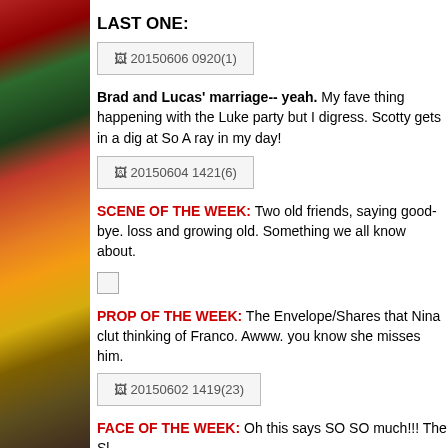[Figure (photo): Magazine sidebar image with red, green, and orange tones, partially visible magazine cover]
LAST ONE:
[Figure (screenshot): Image placeholder labeled 20150606 0920(1)]
Brad and Lucas' marriage-- yeah. My fave thing happening with the Luke party but I digress. Scotty gets in a dig at So A ray in my day!
[Figure (screenshot): Image placeholder labeled 20150604 1421(6)]
SCENE OF THE WEEK: Two old friends, saying good-bye. loss and growing old. Something we all know about.
[Figure (other): Empty checkbox placeholder]
PROP OF THE WEEK:  The Envelope/Shares that Nina clut thinking of Franco. Awww. you know she misses him.
[Figure (screenshot): Image placeholder labeled 20150602 1419(23)]
FACE OF THE WEEK: Oh this says SO SO much!!! The Sl